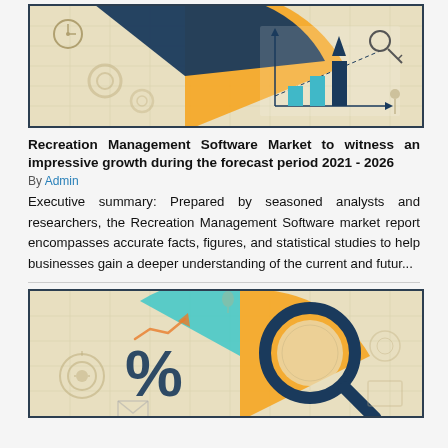[Figure (infographic): Market research infographic with pie chart slices (dark blue and orange), bar chart with upward arrow, gears, clock, and business analytics icons on a beige grid background]
Recreation Management Software Market to witness an impressive growth during the forecast period 2021 - 2026
By Admin
Executive summary: Prepared by seasoned analysts and researchers, the Recreation Management Software market report encompasses accurate facts, figures, and statistical studies to help businesses gain a deeper understanding of the current and futur...
[Figure (infographic): Market research infographic with percentage symbol, pie chart slices (orange and teal), magnifying glass with dark blue frame, target/bullseye icon, arrow trend icon, and analytics icons on a beige grid background]